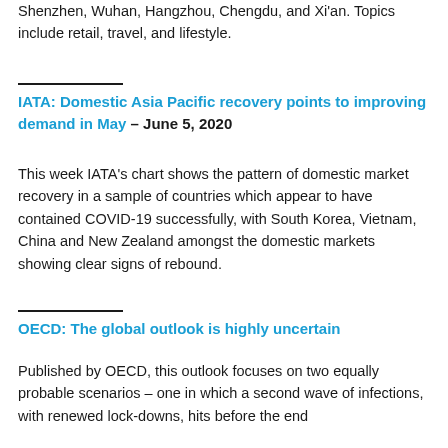Shenzhen, Wuhan, Hangzhou, Chengdu, and Xi'an. Topics include retail, travel, and lifestyle.
IATA: Domestic Asia Pacific recovery points to improving demand in May – June 5, 2020
This week IATA's chart shows the pattern of domestic market recovery in a sample of countries which appear to have contained COVID-19 successfully, with South Korea, Vietnam, China and New Zealand amongst the domestic markets showing clear signs of rebound.
OECD: The global outlook is highly uncertain
Published by OECD, this outlook focuses on two equally probable scenarios – one in which a second wave of infections, with renewed lock-downs, hits before the end